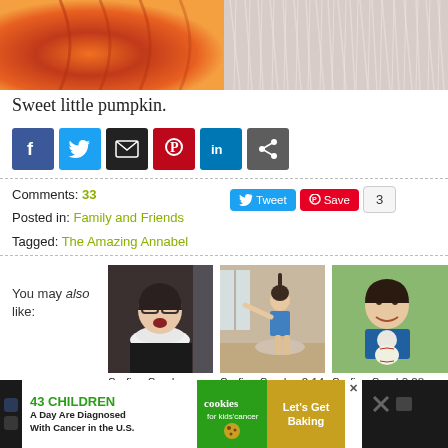[Figure (photo): Top banner image split: left half shows orange pumpkin/gourd texture, right half shows fluffy pink/white material (possibly a costume or stuffed toy)]
Sweet little pumpkin.
[Figure (infographic): Social share buttons row: Facebook (blue), Twitter (light blue), Email (black), Pinterest (red), LinkedIn (blue), Share (grey)]
Comments: 33
Posted in: Family and Friends
Tagged: The Amazing Annabel
[Figure (infographic): Social action buttons: Tweet button (blue), Save button (red Pinterest), count badge showing 3]
You may also like:
[Figure (photo): Thumbnail 1: Woman in black outfit with white ruffled collar making a surprised face]
Surfing Sunday 11.01
[Figure (photo): Thumbnail 2: Girl in blue top pointing or reaching in a room]
Surfing Sunday 2.14
[Figure (photo): Thumbnail 3: Boy in blue shirt holding a baseball, smiling]
Surfing Sunday 3.28
[Figure (infographic): Advertisement banner: '43 Children A Day Are Diagnosed With Cancer in the U.S.' with cookies for kids cancer logo and 'Let's Get Baking' call to action]